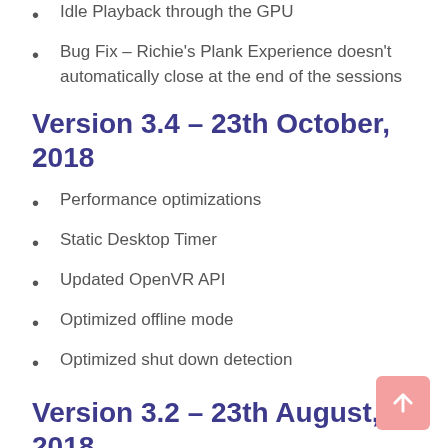Idle Playback through the GPU
Bug Fix – Richie's Plank Experience doesn't automatically close at the end of the sessions
Version 3.4 – 23th October, 2018
Performance optimizations
Static Desktop Timer
Updated OpenVR API
Optimized offline mode
Optimized shut down detection
Version 3.2 – 23th August, 2018
Performance optimizations
Updated 2D VR Menu. HTML/js customization is supported
Multiplayer VR...